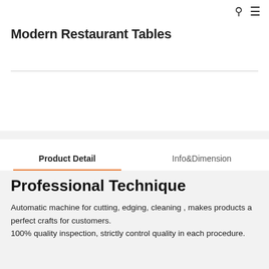🔍 ☰
Modern Restaurant Tables
Inquiry
Product Detail   Info&Dimension
Professional Technique
Automatic machine for cutting, edging, cleaning , makes products a perfect crafts for customers.
100% quality inspection, strictly control quality in each procedure.